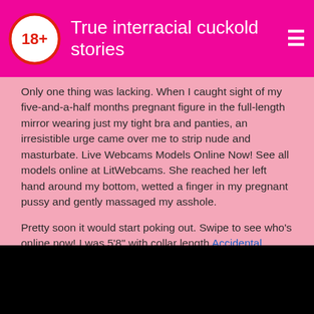True interracial cuckold stories
Only one thing was lacking. When I caught sight of my five-and-a-half months pregnant figure in the full-length mirror wearing just my tight bra and panties, an irresistible urge came over me to strip nude and masturbate. Live Webcams Models Online Now! See all models online at LitWebcams. She reached her left hand around my bottom, wetted a finger in my pregnant pussy and gently massaged my asshole.
Pretty soon it would start poking out. Swipe to see who's online now! I was 5'8" with collar length Accidental creampie stories hair and green eyes.
[Figure (photo): Black rectangle at the bottom of the page, likely a video or image placeholder]